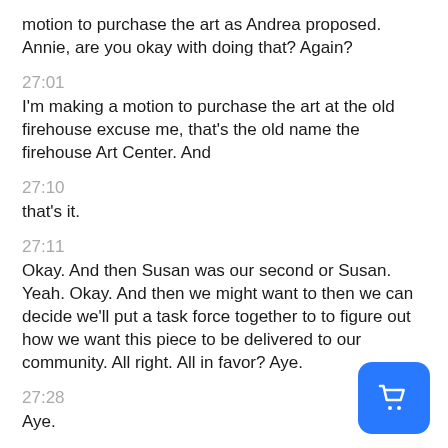motion to purchase the art as Andrea proposed. Annie, are you okay with doing that? Again?
27:01
I'm making a motion to purchase the art at the old firehouse excuse me, that's the old name the firehouse Art Center. And
27:10
that's it.
27:11
Okay. And then Susan was our second or Susan. Yeah. Okay. And then we might want to then we can decide we'll put a task force together to to figure out how we want this piece to be delivered to our community. All right. All in favor? Aye.
27:28
Aye.
[Figure (other): Blue rounded square button with white shopping cart icon]